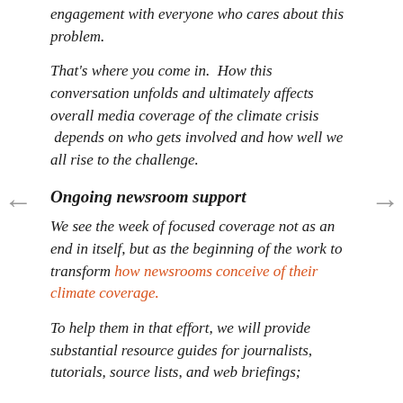engagement with everyone who cares about this problem.
That's where you come in. How this conversation unfolds and ultimately affects overall media coverage of the climate crisis depends on who gets involved and how well we all rise to the challenge.
Ongoing newsroom support
We see the week of focused coverage not as an end in itself, but as the beginning of the work to transform how newsrooms conceive of their climate coverage.
To help them in that effort, we will provide substantial resource guides for journalists, tutorials, source lists, and web briefings;